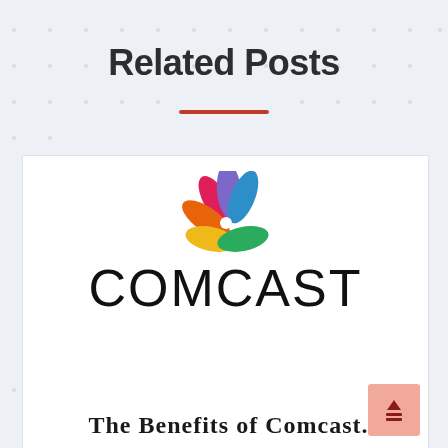Related Posts
[Figure (logo): Comcast logo with NBC peacock feather icon above the word COMCAST in large black letters]
The Benefits of Comcast...